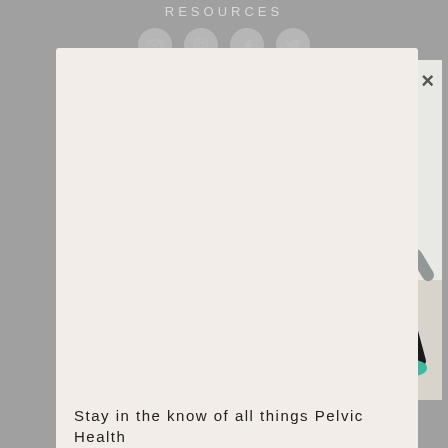RESOURCES
[Figure (photo): Three women exercising/dancing in a bright studio. Center woman in gray sleeveless top and black leggings, smiling. Left woman in black top with pink waistband accent. Right woman in gray striped top.]
Stay in the know of all things Pelvic Health
Join the Pelvic Awareness community.